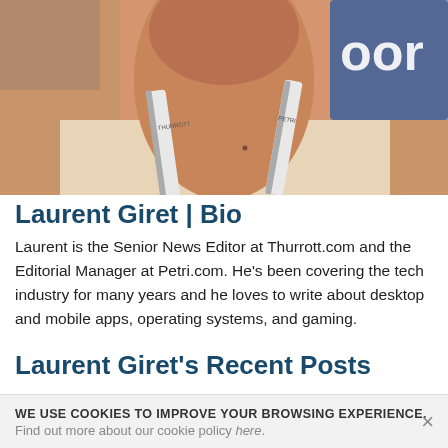[Figure (photo): Close-up photo of Laurent Giret wearing a conference lanyard/badge, with a blurred background showing a logo with 'oor' text]
Laurent Giret | Bio
Laurent is the Senior News Editor at Thurrott.com and the Editorial Manager at Petri.com. He's been covering the tech industry for many years and he loves to write about desktop and mobile apps, operating systems, and gaming.
Laurent Giret's Recent Posts
WE USE COOKIES TO IMPROVE YOUR BROWSING EXPERIENCE.
Find out more about our cookie policy here.